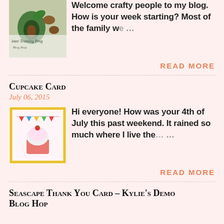[Figure (photo): Thumbnail image of a blog post showing avocado and nuts with text 'Inter Training Prog']
Welcome crafty people to my blog. How is your week starting? Most of the family w… …
READ MORE
Cupcake Card
July 06, 2015
[Figure (photo): Thumbnail image of a cupcake card craft with colorful bunting and cupcake illustration]
Hi everyone! How was your 4th of July this past weekend. It rained so much where I live the… …
READ MORE
Seascape Thank You Card – Kylie's Demo Blog Hop